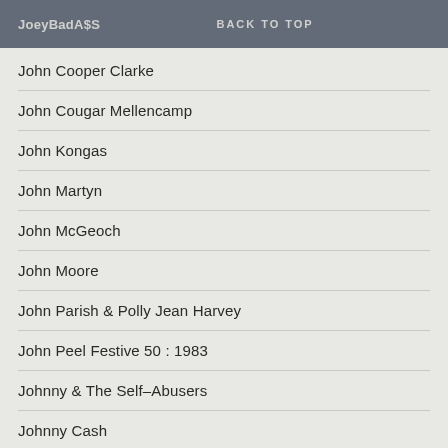JoeyBadA$S   BACK TO TOP
John Cooper Clarke
John Cougar Mellencamp
John Kongas
John Martyn
John McGeoch
John Moore
John Parish & Polly Jean Harvey
John Peel Festive 50 : 1983
Johnny & The Self-Abusers
Johnny Cash
Johnny Clash (Billy Bragg)
Johnny Marr